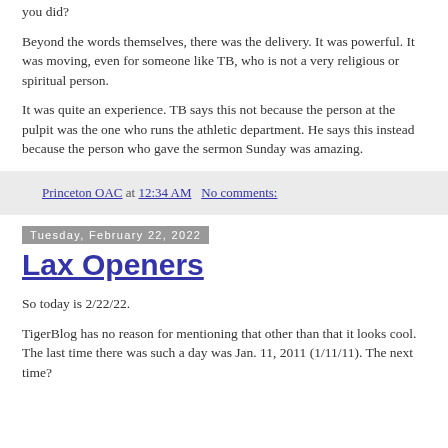you did?
Beyond the words themselves, there was the delivery. It was powerful. It was moving, even for someone like TB, who is not a very religious or spiritual person.
It was quite an experience. TB says this not because the person at the pulpit was the one who runs the athletic department. He says this instead because the person who gave the sermon Sunday was amazing.
Princeton OAC at 12:34 AM   No comments:
Tuesday, February 22, 2022
Lax Openers
So today is 2/22/22.
TigerBlog has no reason for mentioning that other than that it looks cool. The last time there was such a day was Jan. 11, 2011 (1/11/11). The next time?